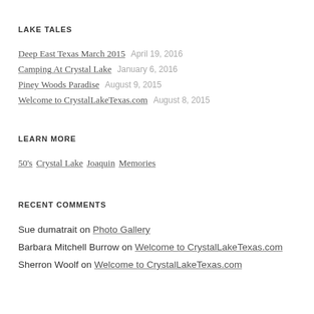LAKE TALES
Deep East Texas March 2015   April 19, 2016
Camping At Crystal Lake   January 6, 2016
Piney Woods Paradise   August 9, 2015
Welcome to CrystalLakeTexas.com   August 8, 2015
LEARN MORE
50's  Crystal Lake  Joaquin  Memories
RECENT COMMENTS
Sue dumatrait on Photo Gallery
Barbara Mitchell Burrow on Welcome to CrystalLakeTexas.com
Sherron Woolf on Welcome to CrystalLakeTexas.com